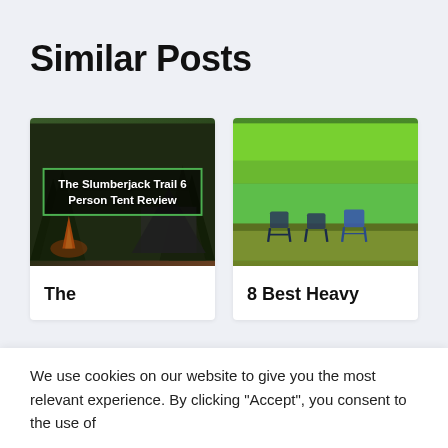Similar Posts
[Figure (photo): Camping scene with a tent and fire, overlaid text reading 'The Slumberjack Trail 6 Person Tent Review' inside a green-bordered box]
The
[Figure (photo): Outdoor lake scene with green trees and blue folding chairs in the foreground]
8 Best Heavy
We use cookies on our website to give you the most relevant experience. By clicking "Accept", you consent to the use of